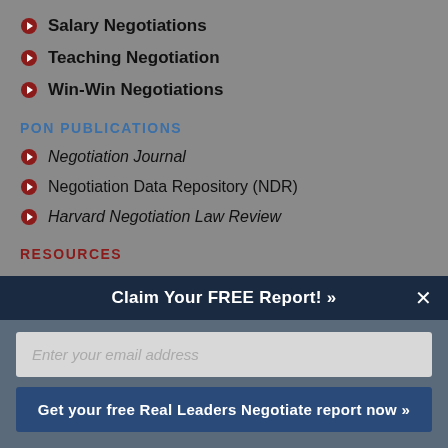Salary Negotiations
Teaching Negotiation
Win-Win Negotiations
PON PUBLICATIONS
Negotiation Journal
Negotiation Data Repository (NDR)
Harvard Negotiation Law Review
RESOURCES
Claim Your FREE Report! »
Enter your email address
Get your free Real Leaders Negotiate report now »